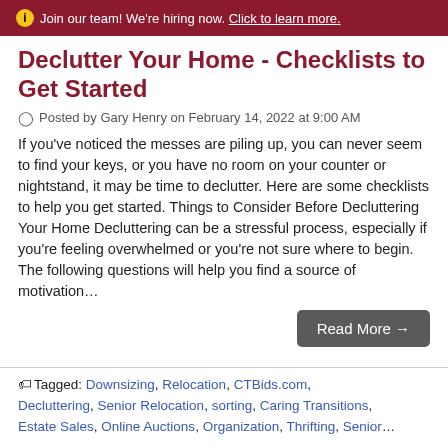Join our team! We're hiring now. Click to learn more.
Declutter Your Home - Checklists to Get Started
Posted by Gary Henry on February 14, 2022 at 9:00 AM
If you've noticed the messes are piling up, you can never seem to find your keys, or you have no room on your counter or nightstand, it may be time to declutter. Here are some checklists to help you get started. Things to Consider Before Decluttering Your Home Decluttering can be a stressful process, especially if you're feeling overwhelmed or you're not sure where to begin. The following questions will help you find a source of motivation…
Read More →
Tagged: Downsizing, Relocation, CTBids.com, Decluttering, Senior Relocation, sorting, Caring Transitions, Estate Sales, Online Auctions, Organization, Thrifting, Senior…